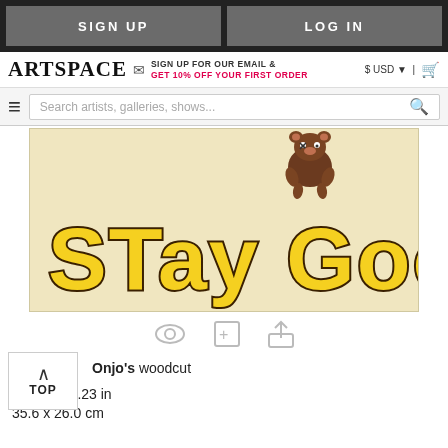SIGN UP | LOG IN
ARTSPACE — SIGN UP FOR OUR EMAIL & GET 10% OFF YOUR FIRST ORDER — $ USD | cart
Search artists, galleries, shows...
[Figure (illustration): Artwork showing 'STAY GOOD' text in large yellow bubble letters with black outline on a beige/tan background, with a small cartoon bear character at the top]
Onjo's woodcut
14.00 x 10.23 in
35.6 x 26.0 cm